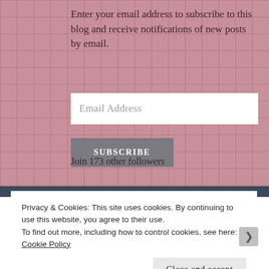Enter your email address to subscribe to this blog and receive notifications of new posts by email.
[Figure (screenshot): Email address input text field with placeholder text 'Email Address']
SUBSCRIBE
Join 173 other followers
Privacy & Cookies: This site uses cookies. By continuing to use this website, you agree to their use.
To find out more, including how to control cookies, see here: Cookie Policy
Close and accept